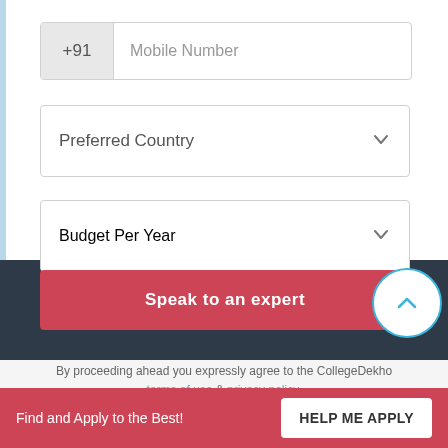+91  Mobile Number
Preferred Country
Budget Per Year
Speak to an expert
By proceeding ahead you expressly agree to the CollegeDekho terms of use & privacy policy.
Find and Apply to the Best!
HELP ME APPLY